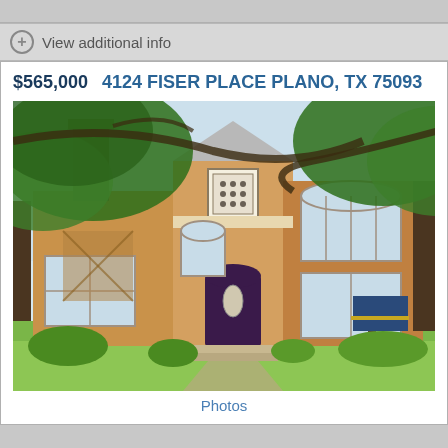View additional info
$565,000   4124 FISER PLACE PLANO, TX 75093
[Figure (photo): Exterior photo of a two-story brick house at 4124 Fiser Place, Plano TX 75093. The home features a dark purple front door with oval window, arched windows, a chimney, and is surrounded by large trees with green lawn in front. A real estate sign is visible in the yard.]
Photos